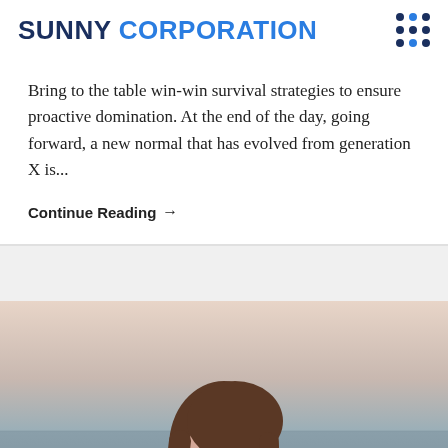SUNNY CORPORATION
Bring to the table win-win survival strategies to ensure proactive domination. At the end of the day, going forward, a new normal that has evolved from generation X is...
Continue Reading →
[Figure (photo): Portrait photo of a young woman with long brown hair, shown from shoulders up, against a muted outdoor background near water at dusk]